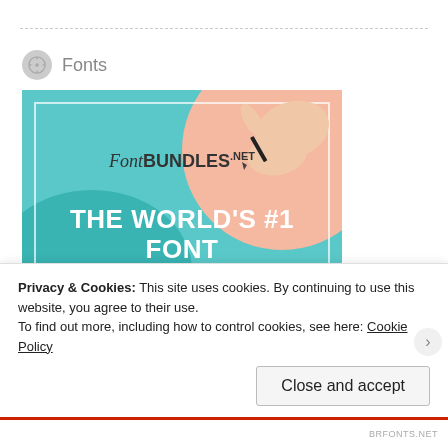Fonts
[Figure (photo): FontBundles.net advertisement banner showing 'THE WORLD'S #1 FONT MARKETPLACE' with a hand writing, teal background, pink circle, and '96% off' text]
Privacy & Cookies: This site uses cookies. By continuing to use this website, you agree to their use.
To find out more, including how to control cookies, see here: Cookie Policy
Close and accept